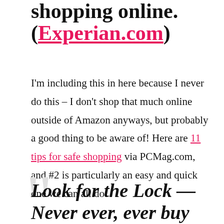shopping online. (Experian.com)
I'm including this in here because I never do this – I don't shop that much online outside of Amazon anyways, but probably a good thing to be aware of! Here are 11 tips for safe shopping via PCMag.com, and #2 is particularly an easy and quick one we can all do:
Look for the Lock — Never ever, ever buy